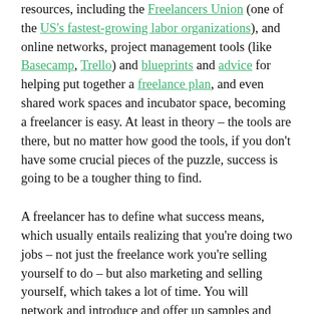resources, including the Freelancers Union (one of the US's fastest-growing labor organizations), and online networks, project management tools (like Basecamp, Trello) and blueprints and advice for helping put together a freelance plan, and even shared work spaces and incubator space, becoming a freelancer is easy. At least in theory – the tools are there, but no matter how good the tools, if you don't have some crucial pieces of the puzzle, success is going to be a tougher thing to find.
A freelancer has to define what success means, which usually entails realizing that you're doing two jobs – not just the freelance work you're selling yourself to do – but also marketing and selling yourself, which takes a lot of time. You will network and introduce and offer up samples and shove your foot in